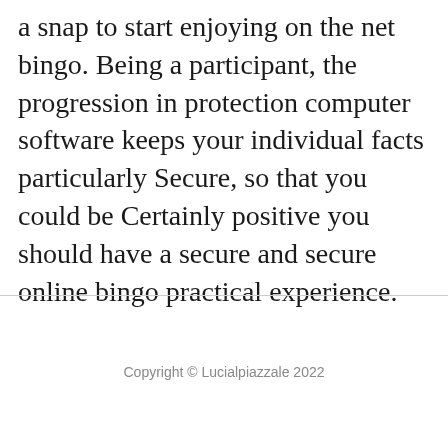a snap to start enjoying on the net bingo. Being a participant, the progression in protection computer software keeps your individual facts particularly Secure, so that you could be Certainly positive you should have a secure and secure online bingo practical experience.
Copyright © Lucialpiazzale 2022